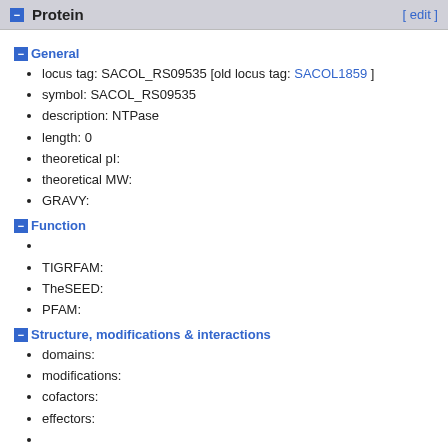Protein [ edit ]
General
locus tag: SACOL_RS09535 [old locus tag: SACOL1859 ]
symbol: SACOL_RS09535
description: NTPase
length: 0
theoretical pI:
theoretical MW:
GRAVY:
Function
TIGRFAM:
TheSEED:
PFAM:
Structure, modifications & interactions
domains:
modifications:
cofactors:
effectors: